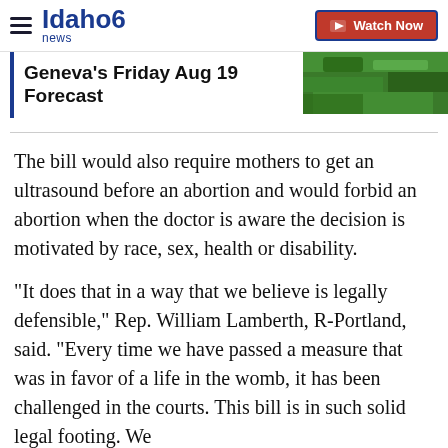Idaho News 6 — Watch Now
Geneva's Friday Aug 19 Forecast
The bill would also require mothers to get an ultrasound before an abortion and would forbid an abortion when the doctor is aware the decision is motivated by race, sex, health or disability.
"It does that in a way that we believe is legally defensible," Rep. William Lamberth, R-Portland, said. "Every time we have passed a measure that was in favor of a life in the womb, it has been challenged in the courts. This bill is in such solid legal footing. We feel strongly about the fact that it would be a million of